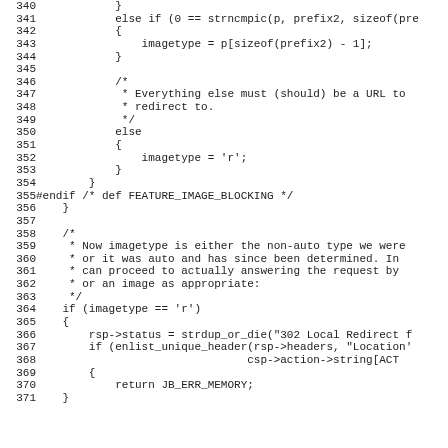[Figure (other): Source code listing in C, lines 340-371, showing image type detection logic with conditional branches for prefix matching, URL redirect, and image blocking feature flags.]